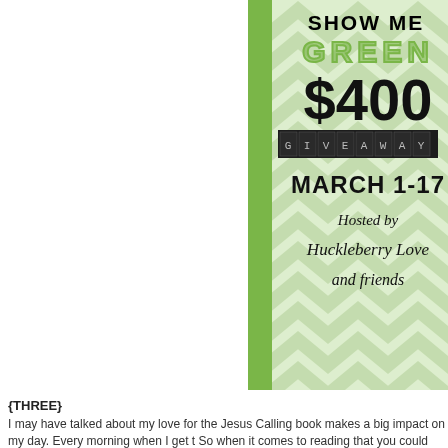[Figure (illustration): Giveaway promotional poster with green chevron background, green diagonal stripe on left, text reading 'SHOW ME GREEN $400 GIVEAWAY MARCH 1-17 Hosted by Huckleberry Love and friends']
{THREE}
I may have talked about my love for the Jesus Calling book makes a big impact on my day. Every morning when I get t So when it comes to reading that you could have...